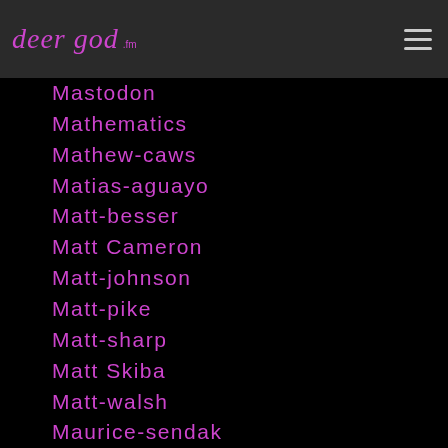deer god
Mastodon
Mathematics
Mathew-caws
Matias-aguayo
Matt-besser
Matt Cameron
Matt-johnson
Matt-pike
Matt-sharp
Matt Skiba
Matt-walsh
Maurice-sendak
Mavis-staples
Maxcavalera
Max-cavalera
Max-collins
Max-roach